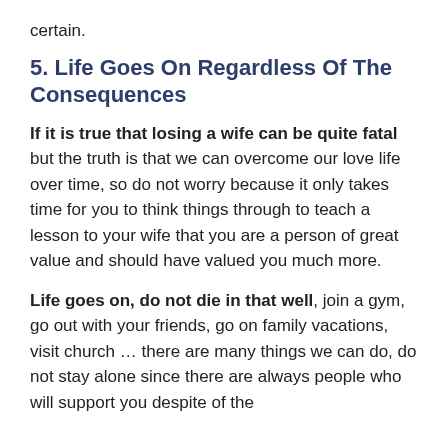certain.
5. Life Goes On Regardless Of The Consequences
If it is true that losing a wife can be quite fatal but the truth is that we can overcome our love life over time, so do not worry because it only takes time for you to think things through to teach a lesson to your wife that you are a person of great value and should have valued you much more.
Life goes on, do not die in that well, join a gym, go out with your friends, go on family vacations, visit church … there are many things we can do, do not stay alone since there are always people who will support you despite of the